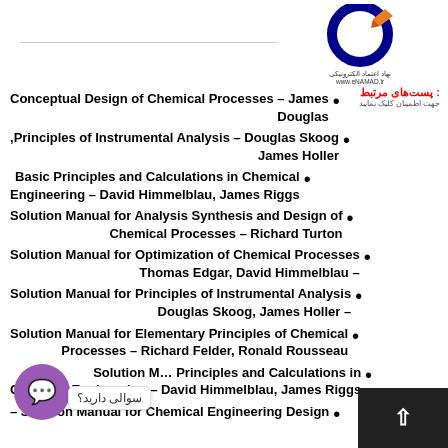[Figure (logo): eNAMAD electronic trust logo with Persian text for related posts and click to confirm]
Conceptual Design of Chemical Processes – James Douglas
Principles of Instrumental Analysis – Douglas Skoog, James Holler
Basic Principles and Calculations in Chemical Engineering – David Himmelblau, James Riggs
Solution Manual for Analysis Synthesis and Design of Chemical Processes – Richard Turton
Solution Manual for Optimization of Chemical Processes – Thomas Edgar, David Himmelblau
Solution Manual for Principles of Instrumental Analysis – Douglas Skoog, James Holler
Solution Manual for Elementary Principles of Chemical Processes – Richard Felder, Ronald Rousseau
Solution Manual for Basic Principles and Calculations in Chemical Engineering – David Himmelblau, James Riggs
Solution Manual for Chemical Engineering Design –